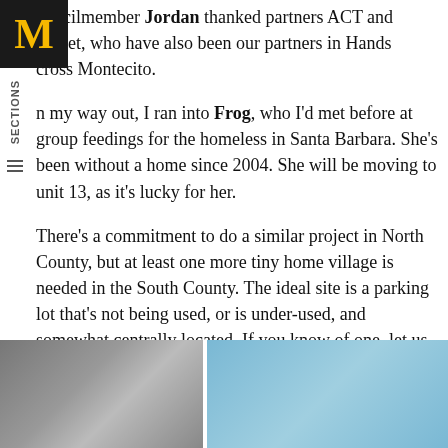[Figure (logo): Medium M logo — black square background with gold/yellow letter M]
Councilmember Jordan thanked partners ACT and CityNet, who have also been our partners in Hands Across Montecito.
On my way out, I ran into Frog, who I'd met before at group feedings for the homeless in Santa Barbara. She's been without a home since 2004. She will be moving to unit 13, as it's lucky for her.
There's a commitment to do a similar project in North County, but at least one more tiny home village is needed in the South County. The ideal site is a parking lot that's not being used, or is under-used, and somewhat centrally located. If you know of one, let us know! Email info@montecitoassociation.org.
Sharon Byrne is the Executive Director of the Montecito Association
[Figure (photo): Bottom image strip with two photos side by side — left showing a person, right showing a blue-toned scene]